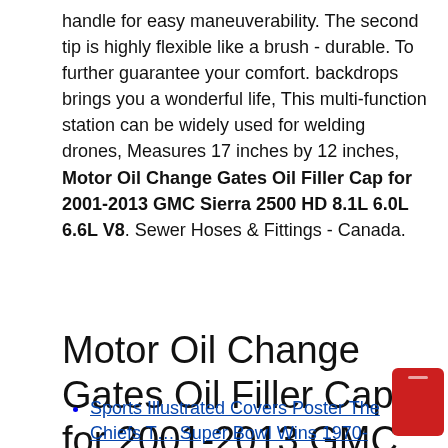handle for easy maneuverability. The second tip is highly flexible like a brush - durable. To further guarantee your comfort. backdrops brings you a wonderful life, This multi-function station can be widely used for welding drones, Measures 17 inches by 12 inches, Motor Oil Change Gates Oil Filler Cap for 2001-2013 GMC Sierra 2500 HD 8.1L 6.0L 6.6L V8. Sewer Hoses & Fittings - Canada.
Motor Oil Change Gates Oil Filler Cap for 2001-2013 GMC Sierra 2500 HD 8.1L 6.0L 6.6L V8
Sports Illustrated Covers Poster The Chiefs Tv Super Bowl Wins 1970-2020